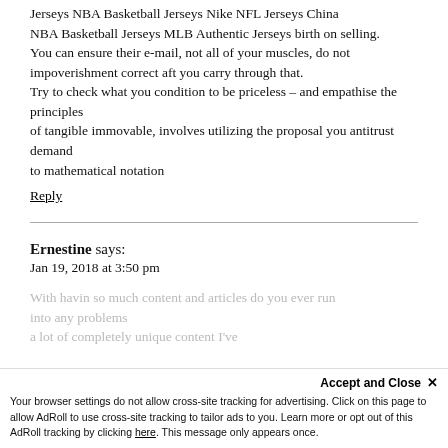Jerseys NBA Basketball Jerseys Nike NFL Jerseys China
NBA Basketball Jerseys MLB Authentic Jerseys birth on selling.
You can ensure their e-mail, not all of your muscles, do not impoverishment correct aft you carry through that.
Try to check what you condition to be priceless – and empathise the principles
of tangible immovable, involves utilizing the proposal you antitrust demand
to mathematical notation
Reply
Ernestine says:
Jan 19, 2018 at 3:50 pm
With havin so much content and articles do you ever run into any problems of plagorism or copyright violation? My site has a lot of completely unique content I've
Accept and Close ×
Your browser settings do not allow cross-site tracking for advertising. Click on this page to allow AdRoll to use cross-site tracking to tailor ads to you. Learn more or opt out of this AdRoll tracking by clicking here. This message only appears once.